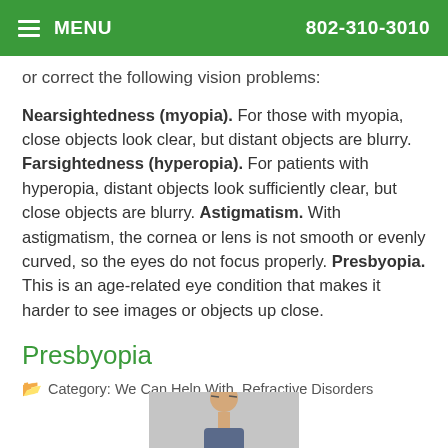MENU  802-310-3010
or correct the following vision problems:
Nearsightedness (myopia). For those with myopia, close objects look clear, but distant objects are blurry. Farsightedness (hyperopia). For patients with hyperopia, distant objects look sufficiently clear, but close objects are blurry. Astigmatism. With astigmatism, the cornea or lens is not smooth or evenly curved, so the eyes do not focus properly. Presbyopia. This is an age-related eye condition that makes it harder to see images or objects up close.
Presbyopia
Category: We Can Help With, Refractive Disorders
[Figure (photo): Photo of a man squinting, partially visible at bottom of page]